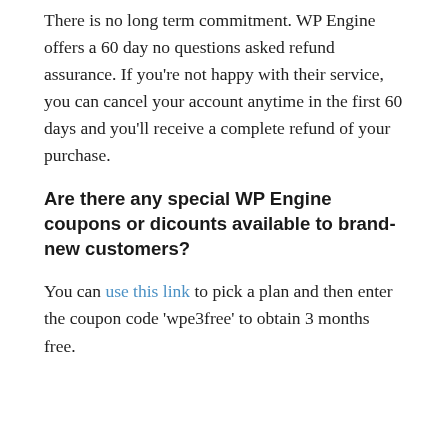designed to immediately prevent hackers and DDOS attacks. Their security guarantee ensures that in the not likely event that your WordPress site becomes jeopardized, their devoted group of security professionals will repair it for free.
Is There a Long Term Commitment?
There is no long term commitment. WP Engine offers a 60 day no questions asked refund assurance. If you're not happy with their service, you can cancel your account anytime in the first 60 days and you'll receive a complete refund of your purchase.
Are there any special WP Engine coupons or dicounts available to brand-new customers?
You can use this link to pick a plan and then enter the coupon code 'wpe3free' to obtain 3 months free.